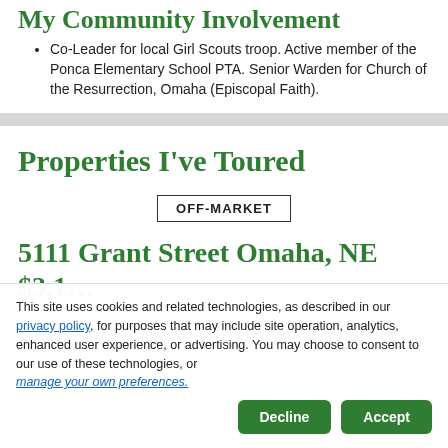My Community Involvement
Co-Leader for local Girl Scouts troop. Active member of the Ponca Elementary School PTA. Senior Warden for Church of the Resurrection, Omaha (Episcopal Faith).
Properties I've Toured
OFF-MARKET
5111 Grant Street Omaha, NE
This site uses cookies and related technologies, as described in our privacy policy, for purposes that may include site operation, analytics, enhanced user experience, or advertising. You may choose to consent to our use of these technologies, or manage your own preferences.